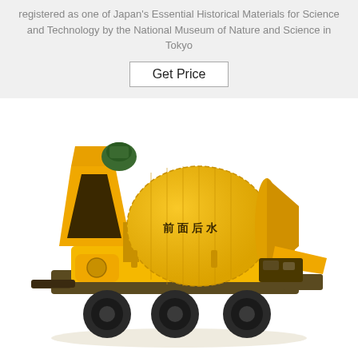registered as one of Japan's Essential Historical Materials for Science and Technology by the National Museum of Nature and Science in Tokyo
Get Price
[Figure (photo): A yellow concrete mixer pump truck with a large rotating drum, mixing hopper, and rubber wheels. The machine is predominantly bright yellow with some dark mechanical components visible underneath. Chinese characters are visible on the drum.]